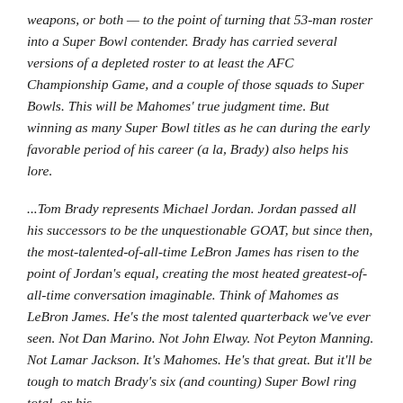weapons, or both — to the point of turning that 53-man roster into a Super Bowl contender. Brady has carried several versions of a depleted roster to at least the AFC Championship Game, and a couple of those squads to Super Bowls. This will be Mahomes' true judgment time. But winning as many Super Bowl titles as he can during the early favorable period of his career (a la, Brady) also helps his lore.
...Tom Brady represents Michael Jordan. Jordan passed all his successors to be the unquestionable GOAT, but since then, the most-talented-of-all-time LeBron James has risen to the point of Jordan's equal, creating the most heated greatest-of-all-time conversation imaginable. Think of Mahomes as LeBron James. He's the most talented quarterback we've ever seen. Not Dan Marino. Not John Elway. Not Peyton Manning. Not Lamar Jackson. It's Mahomes. He's that great. But it'll be tough to match Brady's six (and counting) Super Bowl ring total, or his